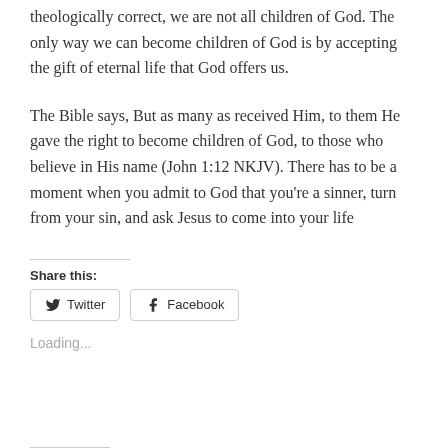theologically correct, we are not all children of God. The only way we can become children of God is by accepting the gift of eternal life that God offers us.
The Bible says, But as many as received Him, to them He gave the right to become children of God, to those who believe in His name (John 1:12 NKJV). There has to be a moment when you admit to God that you're a sinner, turn from your sin, and ask Jesus to come into your life
Share this:
[Figure (other): Twitter and Facebook share buttons]
Loading...